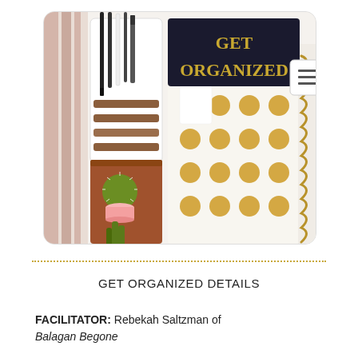[Figure (photo): Photo of desk organization items: a white pen/marker holder with pens on the left, three small potted cacti on a wooden shelf, and a white notebook with gold polka dots and gold spiral binding on the right. A black rectangular label with gold text reading 'GET ORGANIZED' overlays the top center. A small white icon with three horizontal lines (hamburger menu icon) is visible at the top right corner of the photo.]
GET ORGANIZED DETAILS
FACILITATOR: Rebekah Saltzman of Balagan Begone